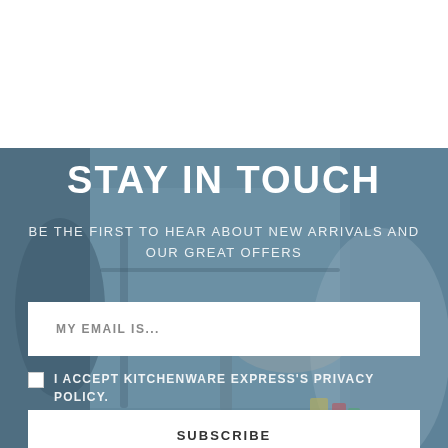[Figure (photo): Blurred kitchen background with a person's hands near kitchen equipment, overlaid with a semi-transparent blue-grey color wash.]
STAY IN TOUCH
BE THE FIRST TO HEAR ABOUT NEW ARRIVALS AND OUR GREAT OFFERS
MY EMAIL IS...
I ACCEPT KITCHENWARE EXPRESS'S PRIVACY POLICY.
SUBSCRIBE